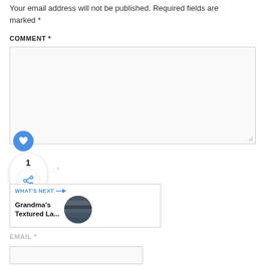Your email address will not be published. Required fields are marked *
COMMENT *
[Figure (screenshot): Comment textarea input box with resize handle, like/heart button, share widget showing count 1, and a 'What's Next' navigation widget showing 'Grandma's Textured La...' with a thumbnail image]
EMAIL *